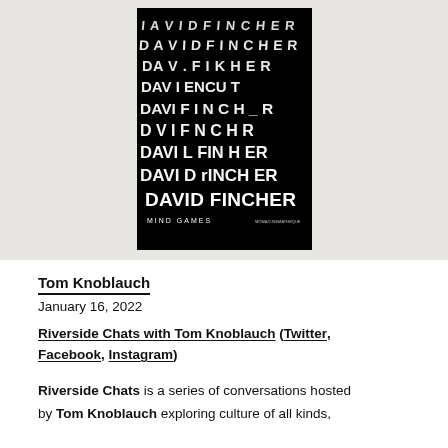[Figure (illustration): Book cover for 'David Fincher: Mind Games' — black background with white fragmented/distorted text showing 'DAVID FINCHER' repeated in increasingly legible rows from top to bottom, with 'MIND GAMES' subtitle at the bottom left.]
Tom Knoblauch
January 16, 2022
Riverside Chats with Tom Knoblauch (Twitter, Facebook, Instagram)
Riverside Chats is a series of conversations hosted by Tom Knoblauch exploring culture of all kinds,